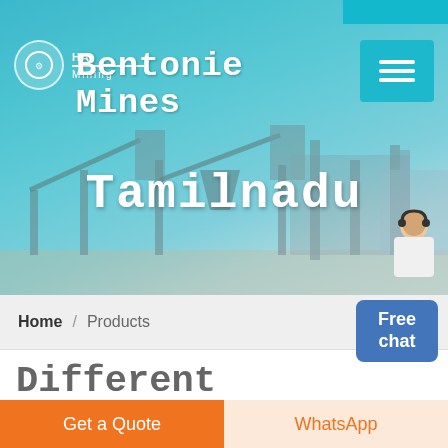Bentonie Mines Tamilnadu
[Figure (photo): Mining equipment / conveyor machinery at an industrial site, teal-tinted banner background]
Home / Products
Different Machines To Meet All Need
[Figure (photo): Industrial facility interior, dark steel structure ceiling]
Get a Quote
WhatsApp